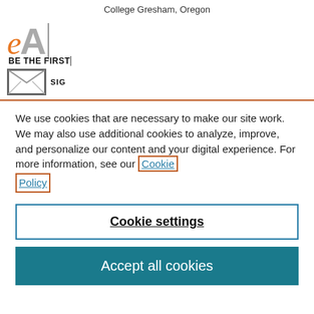College Gresham, Oregon
[Figure (logo): Partial logo with orange italic 'e', grey bold 'A', text 'BE THE FIRST' in bold, envelope icon and 'SIGN UP' text]
We use cookies that are necessary to make our site work. We may also use additional cookies to analyze, improve, and personalize our content and your digital experience. For more information, see our Cookie Policy
Cookie settings
Accept all cookies